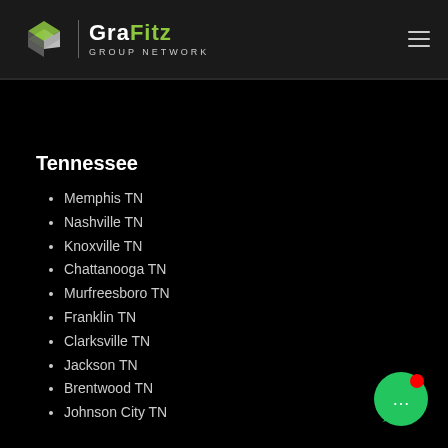GraFitz GROUP NETWORK
Tennessee
Memphis TN
Nashville TN
Knoxville TN
Chattanooga TN
Murfreesboro TN
Franklin TN
Clarksville TN
Jackson TN
Brentwood TN
Johnson City TN
[Figure (illustration): Green circular chat button with speech bubble icon and red notification dot]